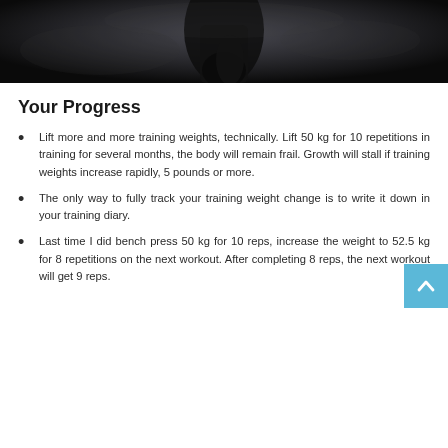[Figure (photo): Dark atmospheric photo of a muscular person holding weights, cropped to show torso and arm area with dramatic lighting]
Your Progress
Lift more and more training weights, technically. Lift 50 kg for 10 repetitions in training for several months, the body will remain frail. Growth will stall if training weights increase rapidly, 5 pounds or more.
The only way to fully track your training weight change is to write it down in your training diary.
Last time I did bench press 50 kg for 10 reps, increase the weight to 52.5 kg for 8 repetitions on the next workout. After completing 8 reps, the next workout will get 9 reps.